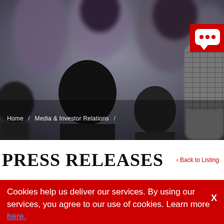[Figure (photo): Dark blurred photo of multiple microphones (press/journalism microphones) clustered together, with people blurred in the background. A red chat bubble icon with three dots is visible in the upper right corner.]
Home  /  Media & Investor Relations  /
PRESS RELEASES
< Back to Listing
Cookies help us deliver our services. By using our services, you agree to our use of cookies. Learn more here.